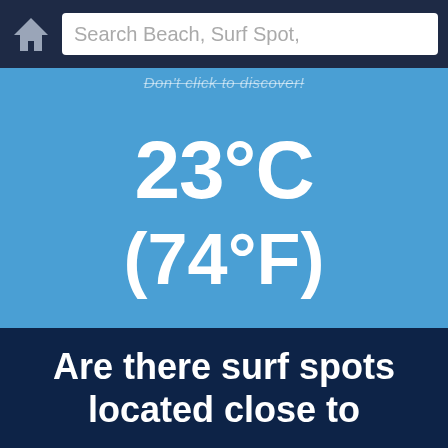Search Beach, Surf Spot,
Don't click to discover
23°C
(74°F)
Are there surf spots located close to